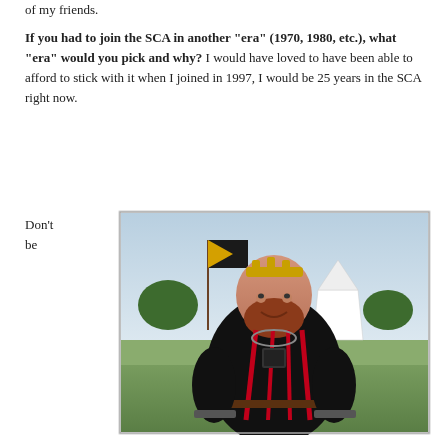of my friends.
If you had to join the SCA in another “era” (1970, 1980, etc.), what “era” would you pick and why? I would have loved to have been able to afford to stick with it when I joined in 1997, I would be 25 years in the SCA right now.
Don’t be
[Figure (photo): A heavyset man with a red beard wearing a black medieval-style tunic with red straps and a gold crown/circlet, standing outdoors at what appears to be an SCA event with a flag and white tent in the background.]